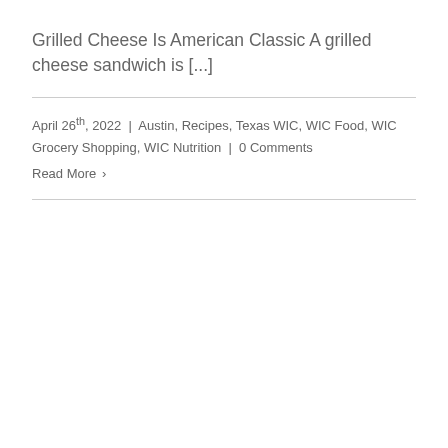Grilled Cheese Is American Classic A grilled cheese sandwich is [...]
April 26th, 2022 | Austin, Recipes, Texas WIC, WIC Food, WIC Grocery Shopping, WIC Nutrition | 0 Comments
Read More ›